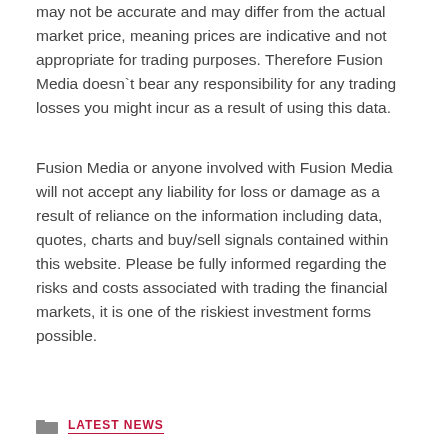may not be accurate and may differ from the actual market price, meaning prices are indicative and not appropriate for trading purposes. Therefore Fusion Media doesn't bear any responsibility for any trading losses you might incur as a result of using this data.
Fusion Media or anyone involved with Fusion Media will not accept any liability for loss or damage as a result of reliance on the information including data, quotes, charts and buy/sell signals contained within this website. Please be fully informed regarding the risks and costs associated with trading the financial markets, it is one of the riskiest investment forms possible.
LATEST NEWS